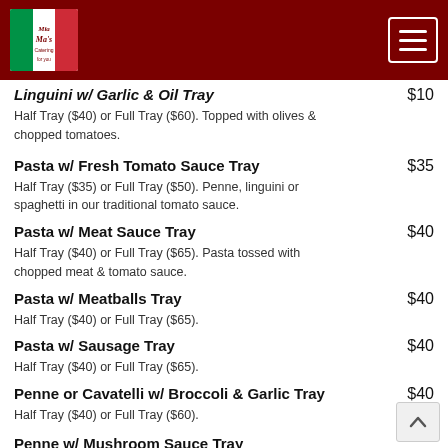Restaurant menu header with logo and navigation
Linguini w/ Garlic & Oil Tray  $10
Half Tray ($40) or Full Tray ($60). Topped with olives & chopped tomatoes.
Pasta w/ Fresh Tomato Sauce Tray  $35 — Half Tray ($35) or Full Tray ($50). Penne, linguini or spaghetti in our traditional tomato sauce.
Pasta w/ Meat Sauce Tray  $40 — Half Tray ($40) or Full Tray ($65). Pasta tossed with chopped meat & tomato sauce.
Pasta w/ Meatballs Tray  $40 — Half Tray ($40) or Full Tray ($65).
Pasta w/ Sausage Tray  $40 — Half Tray ($40) or Full Tray ($65).
Penne or Cavatelli w/ Broccoli & Garlic Tray  $40 — Half Tray ($40) or Full Tray ($60).
Penne w/ Mushroom Sauce Tray  $40